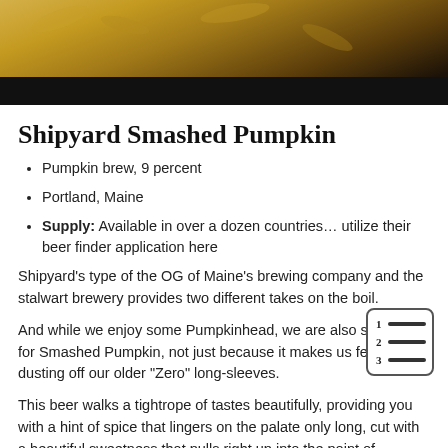[Figure (photo): Outdoor autumn scene showing feet/boots walking through fallen yellow and brown leaves]
Shipyard Smashed Pumpkin
Pumpkin brew, 9 percent
Portland, Maine
Supply: Available in over a dozen countries… utilize their beer finder application here
Shipyard's type of the OG of Maine's brewing company and the stalwart brewery provides two different takes on the boil.
And while we enjoy some Pumpkinhead, we are also suckers for Smashed Pumpkin, not just because it makes us feel like dusting off our older "Zero" long-sleeves.
This beer walks a tightrope of tastes beautifully, providing you with a hint of spice that lingers on the palate only long, cut with a beautiful sweetness that pulls right up into the point of